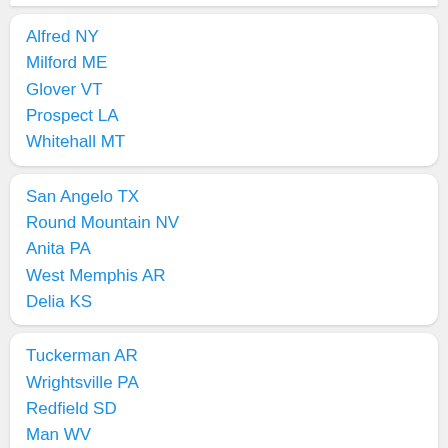Alfred NY
Milford ME
Glover VT
Prospect LA
Whitehall MT
San Angelo TX
Round Mountain NV
Anita PA
West Memphis AR
Delia KS
Tuckerman AR
Wrightsville PA
Redfield SD
Man WV